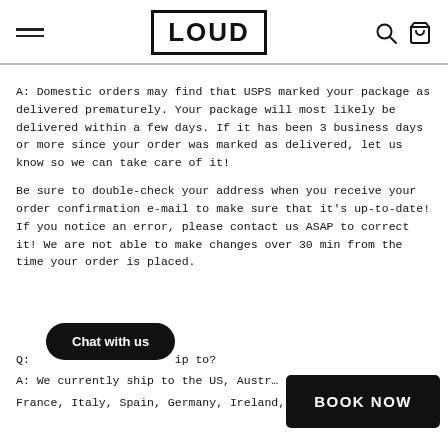LOUD (logo with navigation icons)
A: Domestic orders may find that USPS marked your package as delivered prematurely. Your package will most likely be delivered within a few days. If it has been 3 business days or more since your order was marked as delivered, let us know so we can take care of it!
Be sure to double-check your address when you receive your order confirmation e-mail to make sure that it's up-to-date! If you notice an error, please contact us ASAP to correct it! We are not able to make changes over 30 min from the time your order is placed.
Q: Where do you ship to?
A: We currently ship to the US, Austra France, Italy, Spain, Germany, Ireland, Netherlands